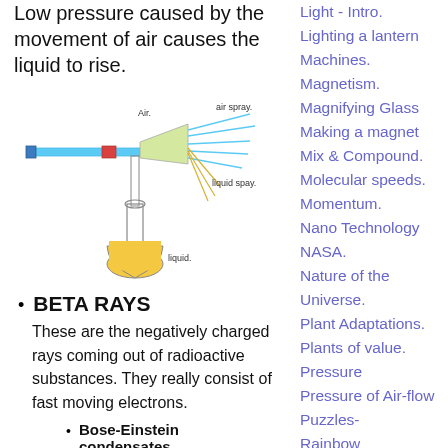Low pressure caused by the movement of air causes the liquid to rise.
[Figure (illustration): Diagram of a spray mechanism showing air flow through a nozzle with labels: Air., air spray., liquid spay., liquid. A flask containing yellow liquid is shown below the nozzle.]
BETA RAYS
These are the negatively charged rays coming out of radioactive substances. They really consist of fast moving electrons.
Bose-Einstein condensates .
Satyendra Nath Bose.Indian (1894-1974) predicted the existence of a 5th state. Eric
Light - Intro.
Lighting a lantern
Machines.
Magnetism.
Magnifying Glass
Making a magnet
Mix & Compound.
Molecular speeds.
Momentum.
Nano Technology
NASA.
Nature of the Universe.
Plant Adaptations.
Plants of value.
Pressure
Pressure of Air-flow
Puzzles-
Rainbow
Reactions. 1.
Research fun.
Rivers in the sky
Science Basics.